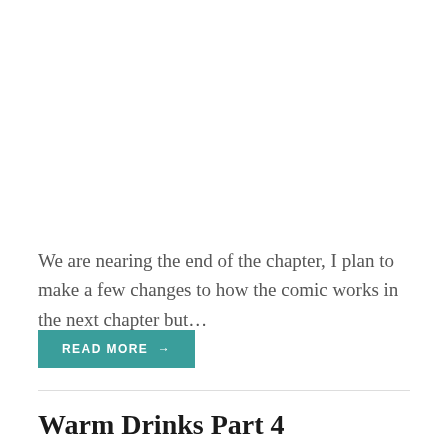We are nearing the end of the chapter, I plan to make a few changes to how the comic works in the next chapter but…
READ MORE →
Warm Drinks Part 4